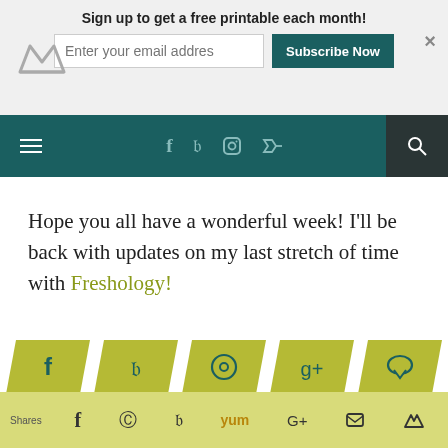Sign up to get a free printable each month! [email input] Subscribe Now
[Figure (screenshot): Navigation bar with hamburger menu, social media icons (f, twitter, instagram, rss), and search icon on dark teal background]
Hope you all have a wonderful week! I'll be back with updates on my last stretch of time with Freshology!
[Figure (infographic): Five parallelogram-shaped olive/yellow-green social share buttons: Facebook (f), Twitter (bird), Pinterest (P), Google+ (g+), Comment (speech bubble)]
Trying to Stay Awake
Shares [Facebook] [Pinterest] [Twitter] [Yum] [Google+] [Email] [Crown]